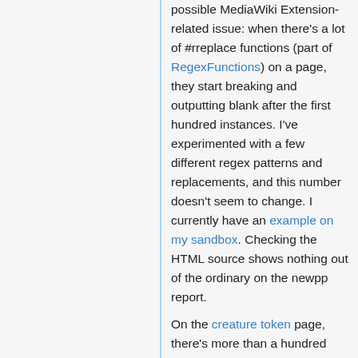possible MediaWiki Extension-related issue: when there's a lot of #rreplace functions (part of RegexFunctions) on a page, they start breaking and outputting blank after the first hundred instances. I've experimented with a few different regex patterns and replacements, and this number doesn't seem to change. I currently have an example on my sandbox. Checking the HTML source shows nothing out of the ordinary on the newpp report.
On the creature token page, there's more than a hundred {{token}}s being used (e.g. [GOOD] ); they start linking to the Main Page after a little before section O. This is because {{token}} uses #rreplace